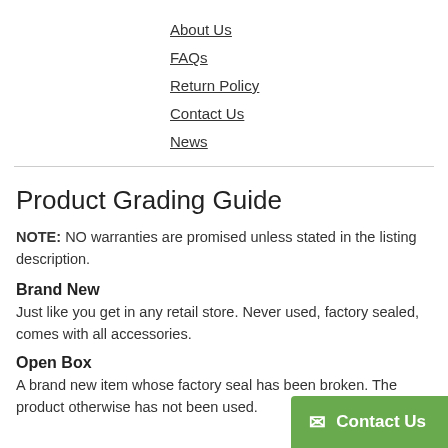About Us
FAQs
Return Policy
Contact Us
News
Product Grading Guide
NOTE: NO warranties are promised unless stated in the listing description.
Brand New
Just like you get in any retail store.  Never used, factory sealed, comes with all accessories.
Open Box
A brand new item whose factory seal has been broken. The product otherwise has not been used.